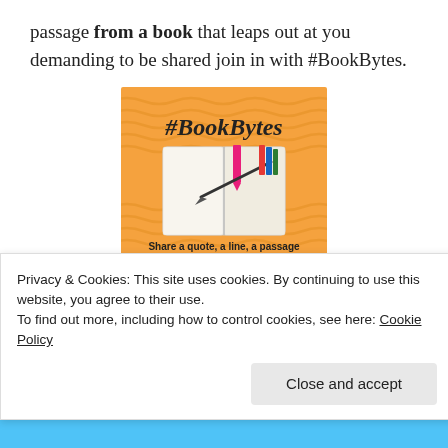passage from a book that leaps out at you demanding to be shared join in with #BookBytes.
[Figure (illustration): #BookBytes promotional graphic on orange background with wavy pattern. Shows an open book with bookmark and text '#BookBytes' at top. Bottom text reads 'Share a quote, a line, a passage' and 'BeatAbouttheBook.wordpress.com']
Here's what you have to do:
Privacy & Cookies: This site uses cookies. By continuing to use this website, you agree to their use.
To find out more, including how to control cookies, see here: Cookie Policy
Close and accept